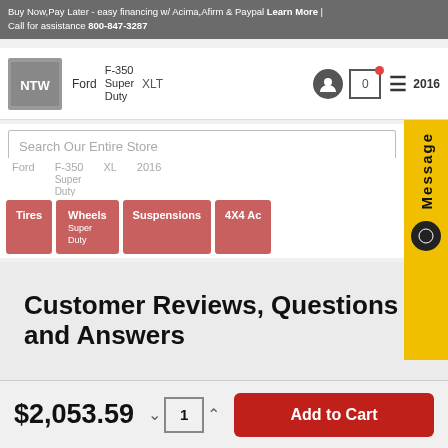Buy Now,Pay Later - easy financing w/ Acima,Afirm & Paypal Learn More | Call for assistance 800-847-3287
Ford F-350 Super Duty XLT 2016
Search Our Entire Store
Ford F-350 Super Duty XL 2016
Tires  Wheels  Suspensions  4X4 Ac
Message
Customer Reviews, Questions and Answers
$2,053.59  1  Add to Cart